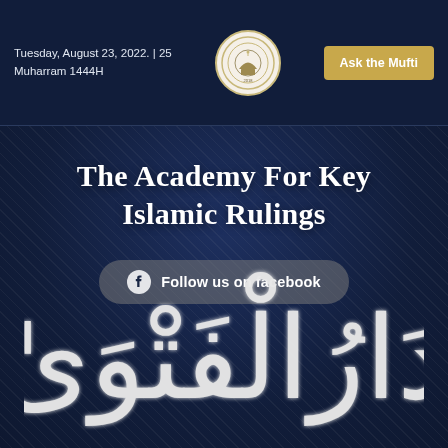Tuesday, August 23, 2022. | 25 Muharram 1444H
Ask the Mufti
The Academy For Key Islamic Rulings
Follow us on facebook
[Figure (illustration): Arabic calligraphy text reading Dar al-Fatwa in large decorative white script on dark navy background]